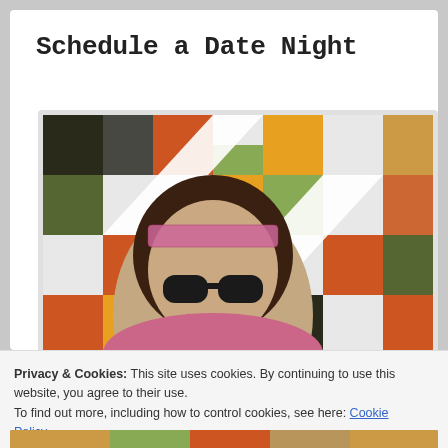Schedule a Date Night
[Figure (photo): Woman with sunglasses and colorful headband smiling in front of a colorful patchwork quilt background with orange, green, yellow, black, and white squares]
Privacy & Cookies: This site uses cookies. By continuing to use this website, you agree to their use.
To find out more, including how to control cookies, see here: Cookie Policy
Close and accept
[Figure (photo): Partial bottom image, partially visible]